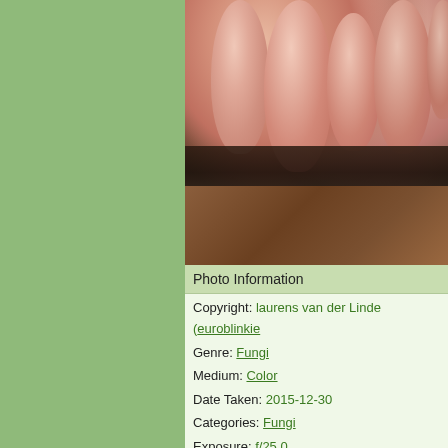[Figure (photo): Close-up macro photo of pink/flesh-colored round fungi fruiting bodies growing on dark wood with black lichen]
Photo Information
Copyright: laurens van der Linde (euroblinkie
Genre: Fungi
Medium: Color
Date Taken: 2015-12-30
Categories: Fungi
Exposure: f/25.0
More Photo Info: [view]
Photo Version: Original Version: [View]